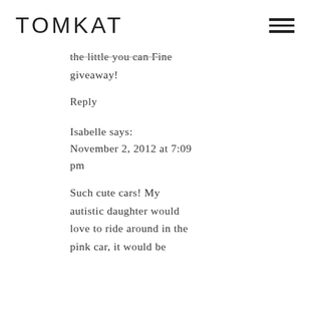TOMKAT
…the little you can Fine giveaway!
Reply
Isabelle says: November 2, 2012 at 7:09 pm
Such cute cars! My autistic daughter would love to ride around in the pink car, it would be